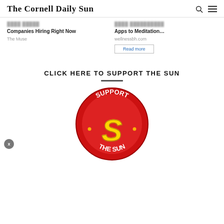The Cornell Daily Sun
Companies Hiring Right Now
The Muse
Apps to Meditation…
wellnessbh.com
Read more
CLICK HERE TO SUPPORT THE SUN
[Figure (logo): Support The Sun circular red badge logo with a yellow S in the center and text reading SUPPORT THE SUN around the border]